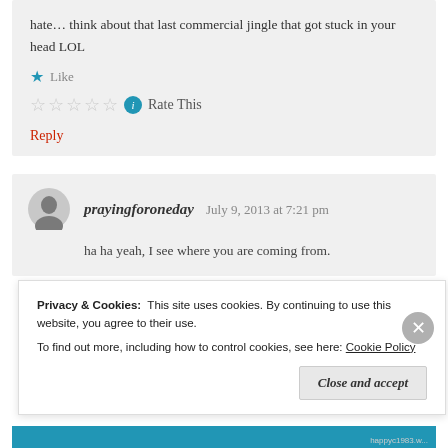hate... think about that last commercial jingle that got stuck in your head LOL
Like
Rate This
Reply
prayingforoneday   July 9, 2013 at 7:21 pm
ha ha yeah, I see where you are coming from.
Privacy & Cookies: This site uses cookies. By continuing to use this website, you agree to their use. To find out more, including how to control cookies, see here: Cookie Policy
Close and accept